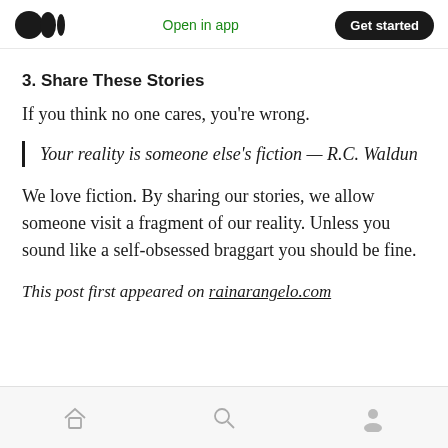Open in app  Get started
3. Share These Stories
If you think no one cares, you're wrong.
Your reality is someone else's fiction — R.C. Waldun
We love fiction. By sharing our stories, we allow someone visit a fragment of our reality. Unless you sound like a self-obsessed braggart you should be fine.
This post first appeared on rainarangelo.com